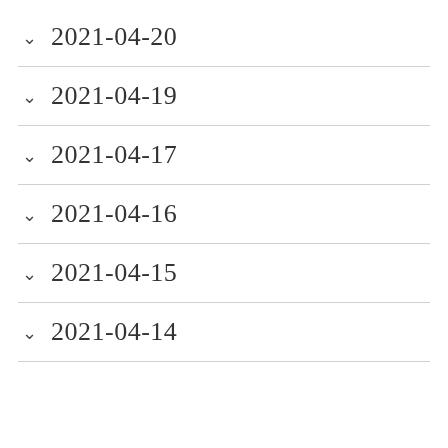2021-04-20
2021-04-19
2021-04-17
2021-04-16
2021-04-15
2021-04-14